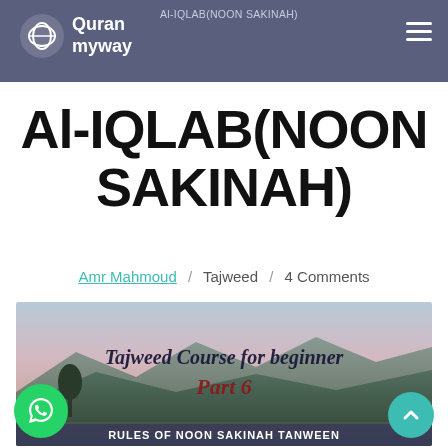Quran myway — Al-IQLAB(NOON SAKINAH)
Al-IQLAB(NOON SAKINAH)
Amr Mahmoud / Tajweed / 4 Comments
[Figure (photo): Landscape thumbnail for Tajweed Course for beginner Part 6 — Rules of Noon Sakinah Tanween. Shows mountain scenery at dusk with text overlay.]